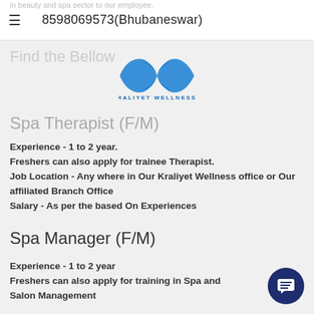8598069573(Bhubaneswar)
in beauty and spa sector to our employee.
[Figure (logo): Kraliyet Wellness logo - two overlapping blue leaf/diamond shapes with text KRALIYET WELLNESS below]
Find the Bellow
Spa Therapist (F/M)
Experience - 1 to 2 year.
Freshers can also apply for trainee Therapist.
Job Location - Any where in Our Kraliyet Wellness office or Our affiliated Branch Office
Salary - As per the based On Experiences
Spa Manager (F/M)
Experience - 1 to 2 year
Freshers can also apply for training in Spa and Salon Management